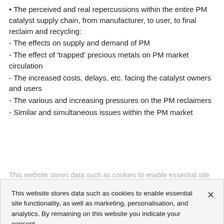• The perceived and real repercussions within the entire PM catalyst supply chain, from manufacturer, to user, to final reclaim and recycling:
- The effects on supply and demand of PM
- The effect of 'trapped' precious metals on PM market circulation
- The increased costs, delays, etc. facing the catalyst owners and users
- The various and increasing pressures on the PM reclaimers
- Similar and simultaneous issues within the PM market
This website stores data such as cookies to enable essential site functionality, as well as marketing, personalisation, and analytics. By remaining on this website you indicate your consent.